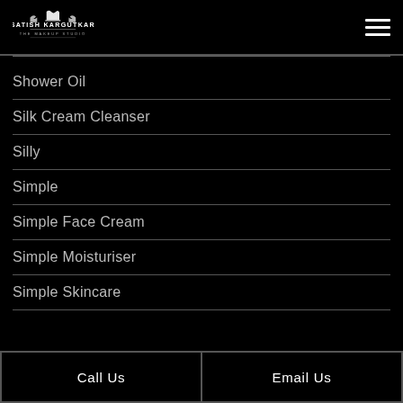Satish Kargutkar The Makeup Studio
Shower Oil
Silk Cream Cleanser
Silly
Simple
Simple Face Cream
Simple Moisturiser
Simple Skincare
Call Us  Email Us